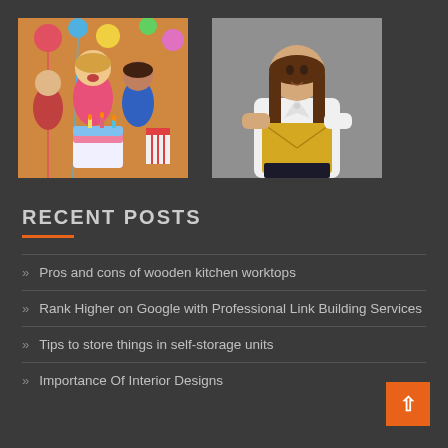[Figure (photo): Children at a birthday party with cake and colorful decorations, kids laughing and celebrating]
[Figure (photo): Young woman in white blouse holding a yellow envelope or folder, standing against gray background]
RECENT POSTS
Pros and cons of wooden kitchen worktops
Rank Higher on Google with Professional Link Building Services
Tips to store things in self-storage units
Importance Of Interior Designs